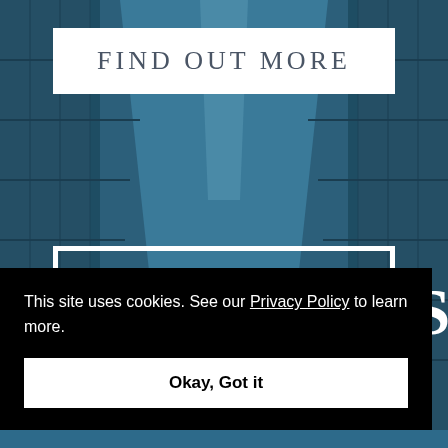[Figure (photo): Background photo of a storage unit facility corridor with teal/blue-tinted metal roll-up doors receding into the distance.]
FIND OUT MORE
FEATURES
This site uses cookies. See our Privacy Policy to learn more.
Okay, Got it